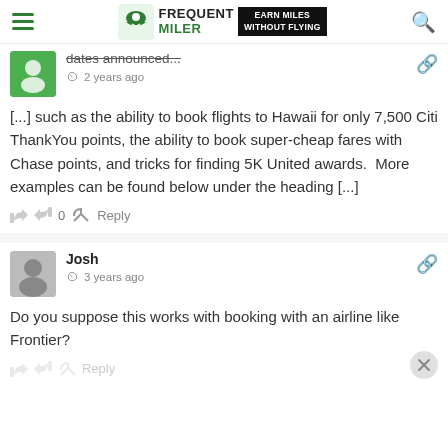Frequent Miler — Earn Miles Without Flying
dates announced... 2 years ago
[...] such as the ability to book flights to Hawaii for only 7,500 Citi ThankYou points, the ability to book super-cheap fares with Chase points, and tricks for finding 5K United awards.  More examples can be found below under the heading [...]
0  Reply
Josh  3 years ago
Do you suppose this works with booking with an airline like Frontier?
Reply